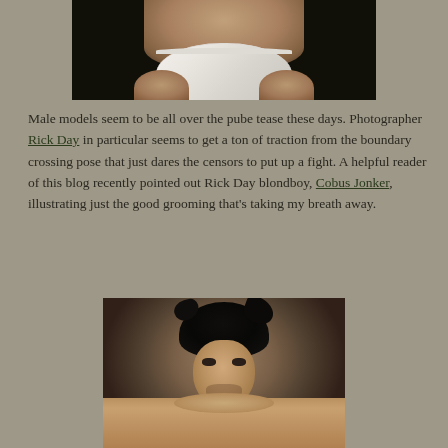[Figure (photo): Cropped photo of a male model from waist down wearing white briefs against a dark background]
Male models seem to be all over the pube tease these days. Photographer Rick Day in particular seems to get a ton of traction from the boundary crossing pose that just dares the censors to put up a fight. A helpful reader of this blog recently pointed out Rick Day blondboy, Cobus Jonker, illustrating just the good grooming that's taking my breath away.
[Figure (photo): Portrait photo of a dark-haired male model (Cobus Jonker) with tousled hair, shirtless, looking at camera]